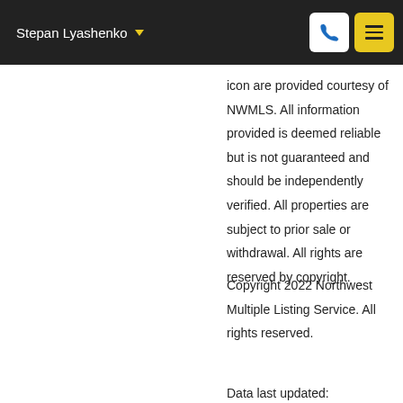Stepan Lyashenko
icon are provided courtesy of NWMLS. All information provided is deemed reliable but is not guaranteed and should be independently verified. All properties are subject to prior sale or withdrawal. All rights are reserved by copyright.
Copyright 2022 Northwest Multiple Listing Service. All rights reserved.
Data last updated: